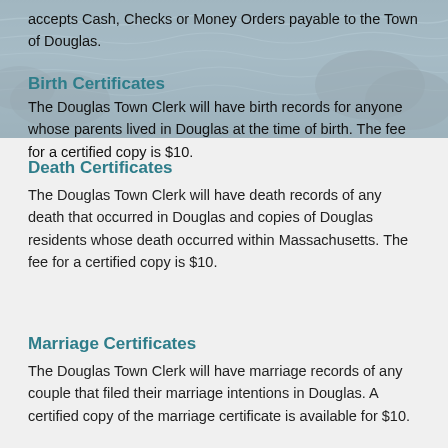accepts Cash, Checks or Money Orders payable to the Town of Douglas.
Birth Certificates
The Douglas Town Clerk will have birth records for anyone whose parents lived in Douglas at the time of birth. The fee for a certified copy is $10.
Death Certificates
The Douglas Town Clerk will have death records of any death that occurred in Douglas and copies of Douglas residents whose death occurred within Massachusetts. The fee for a certified copy is $10.
Marriage Certificates
The Douglas Town Clerk will have marriage records of any couple that filed their marriage intentions in Douglas. A certified copy of the marriage certificate is available for $10.